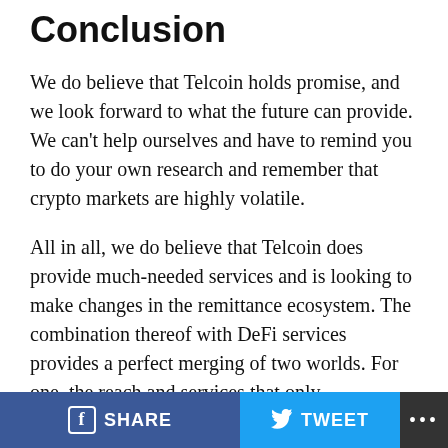Conclusion
We do believe that Telcoin holds promise, and we look forward to what the future can provide. We can’t help ourselves and have to remind you to do your own research and remember that crypto markets are highly volatile.
All in all, we do believe that Telcoin does provide much-needed services and is looking to make changes in the remittance ecosystem. The combination thereof with DeFi services provides a perfect merging of two worlds. For one, the reach and services that only telecommunications services can provide, and on the other, the decentralized blockchain economy.
We hope to have been able to answer the initial question that we set out to ask “Is Telcoin a Good investment?”
SHARE   TWEET   ...